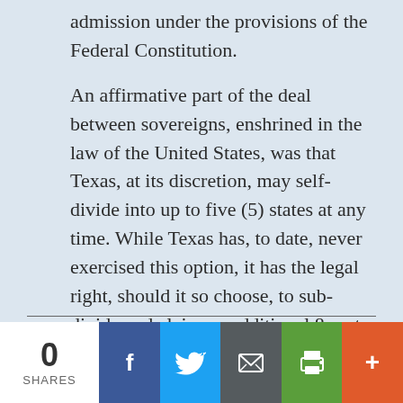admission under the provisions of the Federal Constitution.
An affirmative part of the deal between sovereigns, enshrined in the law of the United States, was that Texas, at its discretion, may self-divide into up to five (5) states at any time. While Texas has, to date, never exercised this option, it has the legal right, should it so choose, to sub-divide and claim an additional 8 seats in the United States Senate at its pleasure.
0 SHARES | Facebook | Twitter | Email | Print | More